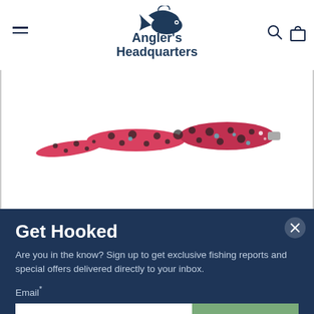[Figure (logo): Angler's Headquarters logo with fish graphic and text]
[Figure (photo): Pink and black speckled fishing lure (soft plastic worm bait) on white background]
Get Hooked
Are you in the know? Sign up to get exclusive fishing reports and special offers delivered directly to your inbox.
Email*
Sign Up